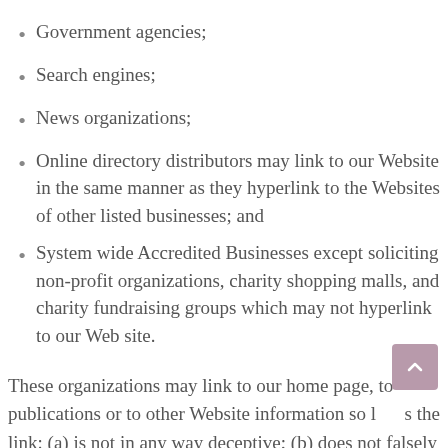Government agencies;
Search engines;
News organizations;
Online directory distributors may link to our Website in the same manner as they hyperlink to the Websites of other listed businesses; and
System wide Accredited Businesses except soliciting non-profit organizations, charity shopping malls, and charity fundraising groups which may not hyperlink to our Web site.
These organizations may link to our home page, to publications or to other Website information so long as the link: (a) is not in any way deceptive; (b) does not falsely